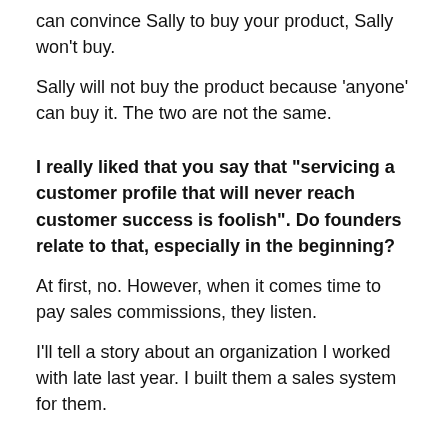can convince Sally to buy your product, Sally won't buy.
Sally will not buy the product because ‘anyone’ can buy it. The two are not the same.
I really liked that you say that “servicing a customer profile that will never reach customer success is foolish”. Do founders relate to that, especially in the beginning?
At first, no. However, when it comes time to pay sales commissions, they listen.
I’ll tell a story about an organization I worked with late last year. I built them a sales system for them.